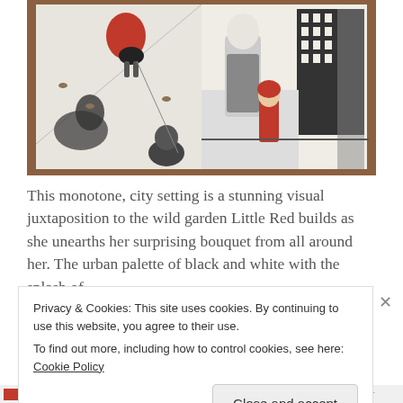[Figure (photo): A photograph of an open children's book showing illustrated pages. Left page shows a girl in a red hooded coat from above, with birds on the ground and a shadowy figure. Right page shows a black and white illustration of a man and a child in a red coat in an urban city setting with buildings.]
This monotone, city setting is a stunning visual juxtaposition to the wild garden Little Red builds as she unearths her surprising bouquet from all around her. The urban palette of black and white with the splash of
Privacy & Cookies: This site uses cookies. By continuing to use this website, you agree to their use.
To find out more, including how to control cookies, see here: Cookie Policy
Close and accept